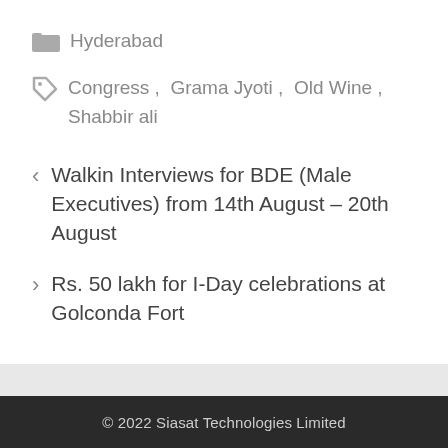Hyderabad
Congress , Grama Jyoti , Old Wine , Shabbir ali
< Walkin Interviews for BDE (Male Executives) from 14th August – 20th August
> Rs. 50 lakh for I-Day celebrations at Golconda Fort
© 2022 Siasat Technologies Limited